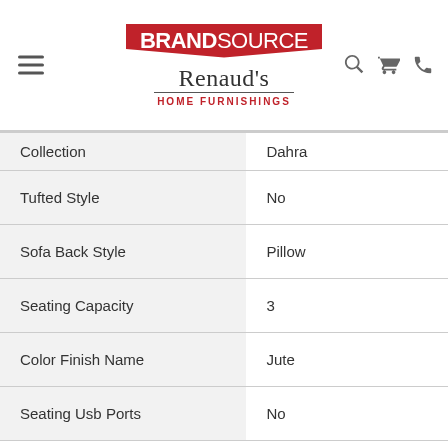[Figure (logo): BrandSource Renaud's Home Furnishings logo with hamburger menu, search, cart, and phone icons]
| Collection | Dahra |
| Tufted Style | No |
| Sofa Back Style | Pillow |
| Seating Capacity | 3 |
| Color Finish Name | Jute |
| Seating Usb Ports | No |